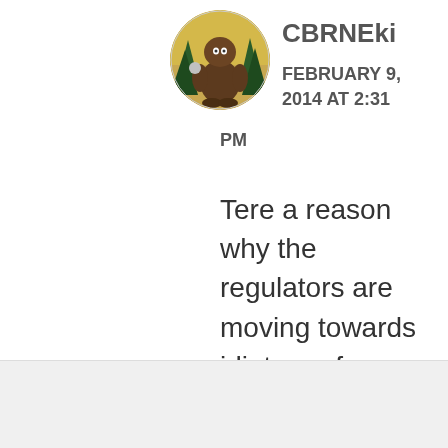[Figure (illustration): Circular avatar image showing a cartoon Bigfoot/Sasquatch creature holding objects, standing in front of pine trees with a yellow/green background. The image is cropped in a circle.]
CBRNEki
FEBRUARY 9, 2014 AT 2:31 PM
Tere a reason why the regulators are moving towards idiot proof devices, it's because many idiots work at
Advertisements
REPORT THIS AD